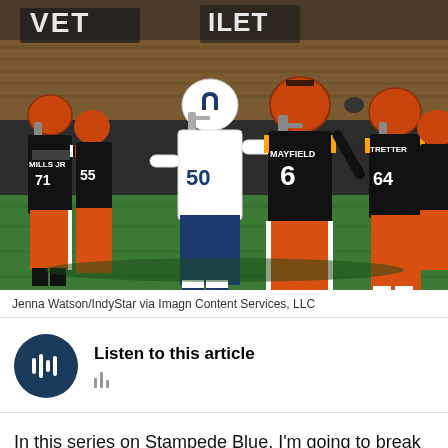[Figure (photo): NFL football game action photo showing Cleveland Browns players including Baker Mayfield (jersey: MAYFIELD, #6) being rushed by an Indianapolis Colts player (#50) in white uniform. Other Browns players visible including #71 (MILLS JR) on left and #64 (TRETTER) on right. Players on green field with crowd in background.]
Jenna Watson/IndyStar via Imagn Content Services, LLC
[Figure (other): Audio player widget with dark navy circular play button icon and 'Listen to this article' label with audio waveform bars below]
In this series on Stampede Blue, I'm going to break down each player on a 50-100 Madden-style scale